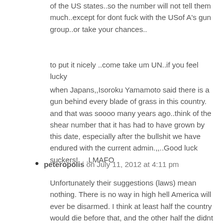of the US states..so the number will not tell them much..except for dont fuck with the USof A's gun group..or take your chances..
to put it nicely ..come take um UN..if you feel lucky
when Japans,,Isoroku Yamamoto said there is a gun behind every blade of grass in this country. and that was soooo many years ago..think of the shear number that it has had to have grown by this date, especially after the bullshit we have endured with the current admin.,,..Good luck suckers!. . .LMAFO
peteropolis on July 11, 2012 at 4:11 pm
Unfortunately their suggestions (laws) mean nothing. There is no way in high hell America will ever be disarmed. I think at least half the country would die before that, and the other half the didnt fight have no idea of life or liberty in the first place.